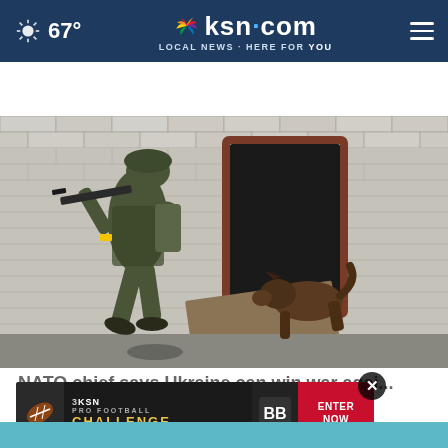67° ksn.com LOCAL NEWS · HERE FOR YOU
AROUND THE WEB
[Figure (photo): Ukrainian soldier in full combat gear holding a rifle near a damaged brick building doorway, with a German shepherd dog entering through the doorway. Scene depicts military urban operations.]
NATO chief says Ukraine can win war against Rus...
[Figure (infographic): 3KSN Pro Football Challenge advertisement banner with Enter Now button, football imagery, and sponsor logos on dark background.]